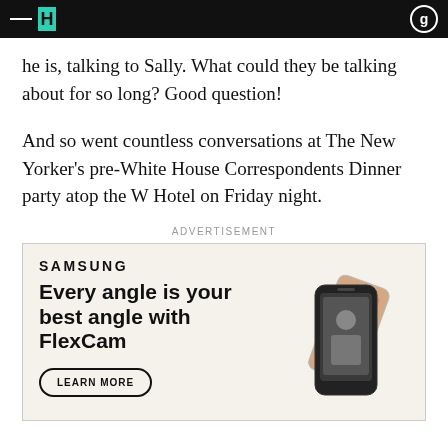he is, talking to Sally. What could they be talking about for so long? Good question!
And so went countless conversations at The New Yorker's pre-White House Correspondents Dinner party atop the W Hotel on Friday night.
ADVERTISEMENT
[Figure (other): Samsung advertisement: 'Every angle is your best angle with FlexCam' with a LEARN MORE button and an image of a Samsung flip phone]